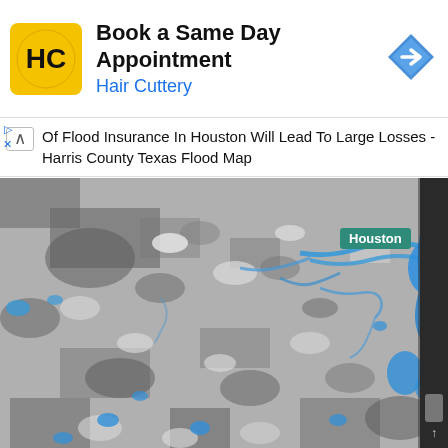[Figure (other): Hair Cuttery advertisement banner. Logo: yellow square with 'HC' in black. Headline: 'Book a Same Day Appointment'. Brand: 'Hair Cuttery'. Blue diamond navigation arrow icon on right.]
Of Flood Insurance In Houston Will Lead To Large Losses - Harris County Texas Flood Map
[Figure (map): Satellite/radar flood map of Houston, Texas area showing flooding extent. Grayscale aerial imagery with blue areas indicating flood water. A green location pin/label reads 'Houston'. Blue waterways and flooded zones visible across the metropolitan area and to the east.]